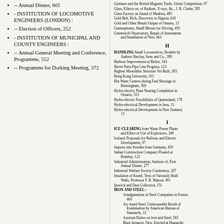-- Annual Dinner, 605
- INSTITUTION OF LOCOMOTIVE ENGINEERS (LONDON) :
-- Election of Officers, 252
- INSTITUTION OF MUNICIPAL AND COUNTY ENGINEERS :
-- Annual General Meeting and Conference, Programme, 552
-- Programme for Dorking Meeting, 372
Germans and the British Magneto Trade, Unfair Competition, 97
Glass, Effects on, of Radium, X-rays, &c., J. R. Clarke, 585
Glass Factory on Island of Madeira, 485
Gold Belt, Rich, Discovery in Nigeria, 643
Gold and Other Metals Output of Ontario, 13
Gramophones, Small Motors for Driving, 459
Greenwich Observatory, Repair of Instruments and Installation of New, 663
H
HANDLING Small Locomotives, Booklet by Andrew Barclay, Sons and Co., 389
Harbour Improvement at Belize, 543
Havre-Paris Pipe Line Progress, 123
Highest Monolithic Structure Yet Built, 393
Hong Kong University, 191
Hot Water Centres during Fuel Shortage in Birmingham, 569
Hydro-electric Plant Nearing Completion in Ontario, 513
Hydro-electric Possibilities of Queensland, 178
Hydro-electrical Development in Java, 13
Hydro-electrical Development in New Zealand, 13
I
ICE-CLEARING from Water Power Plants and Effect of Use of Explosives, 349
Iceland, Proposals for Railway and Electric Development, 97
Imports into Sweden from Germany, 459
Indian Construction Company Floated at Bombay, 123
Industrial Administration, Institute of, First Annual Dinner, 277
Industrial Welfare Society Conference, 207
Insulation of Sound, Tests of Variously Built Walls, Professor F. R. Watson, 491
Ipswich and Dust Collection, 151
IRON AND STEEL :
Amalgamation of Steel Companies in France, 460
Arc-fused Steel, Unfavourable Result of Examination by American Bureau of Standards, 13
Austrian Duties on Iron and Steel, 565
Blast-furnaces, New, Erected at Huangshi-kang, China, 43
Blast-furnaces in Lorraine, Diminished Number Working, 293